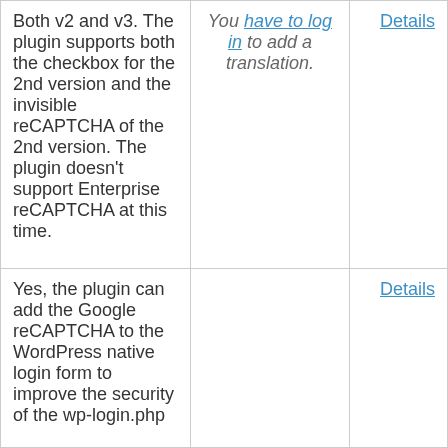| Description | Translation | Action |
| --- | --- | --- |
| Both v2 and v3. The plugin supports both the checkbox for the 2nd version and the invisible reCAPTCHA of the 2nd version. The plugin doesn't support Enterprise reCAPTCHA at this time. | You have to log in to add a translation. | Details |
| Yes, the plugin can add the Google reCAPTCHA to the WordPress native login form to improve the security of the wp-login.php... |  | Details |